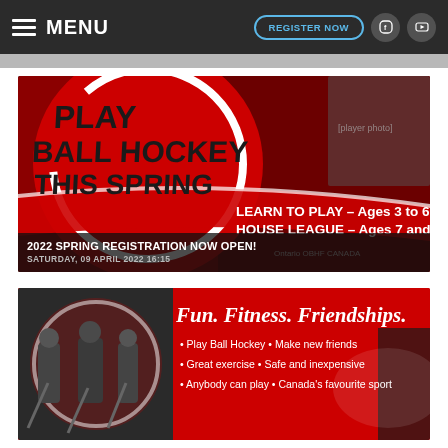MENU | REGISTER NOW
[Figure (photo): Ball hockey promotional banner: red circular graphic with 'PLAY BALL HOCKEY THIS SPRING', text 'LEARN TO PLAY – Ages 3 to 6 / HOUSE LEAGUE – Ages 7 and up', Ontario OBHF and Canada Hockey logos. Overlay caption: '2022 SPRING REGISTRATION NOW OPEN!' and 'SATURDAY, 09 APRIL 2022 16:15']
[Figure (photo): Ball hockey promotional banner: 'Fun. Fitness. Friendships.' with bullet points: Play Ball Hockey • Make new friends, Great exercise • Safe and inexpensive, Anybody can play • Canada's favourite sport. Shows players in hockey gear on court.]